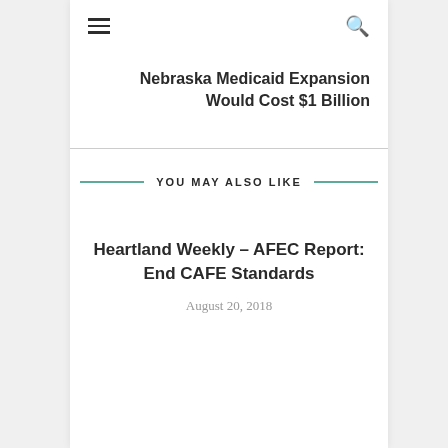≡    🔍
Nebraska Medicaid Expansion Would Cost $1 Billion
YOU MAY ALSO LIKE
Heartland Weekly – AFEC Report: End CAFE Standards
August 20, 2018